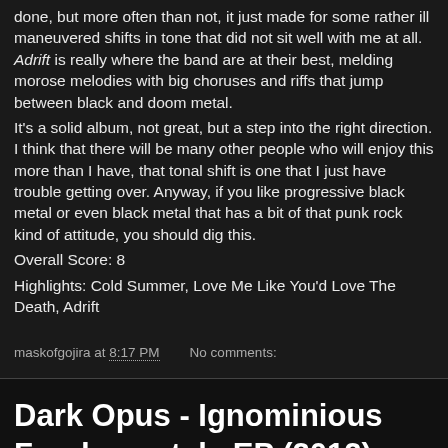done, but more often than not, it just made for some rather ill maneuvered shifts in tone that did not sit well with me at all. Adrift is really where the band are at their best, melding morose melodies with big choruses and riffs that jump between black and doom metal.
It's a solid album, not great, but a step into the right direction. I think that there will be many other people who will enjoy this more than I have, that tonal shift is one that I just have trouble getting over. Anyway, if you like progressive black metal or even black metal that has a bit of that punk rock kind of attitude, you should dig this.
Overall Score: 8
Highlights: Cold Summer, Love Me Like You'd Love The Death, Adrift
maskofgojira at 8:17 PM   No comments:
Dark Opus - Ignominious Fundamentals EP (2012)